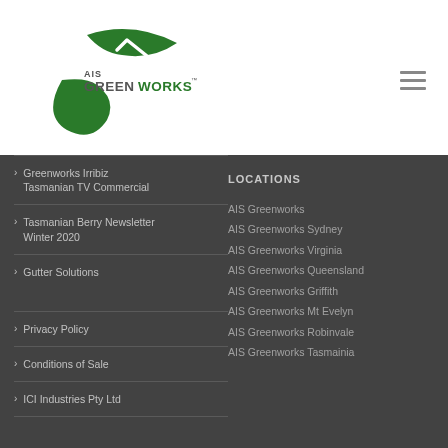[Figure (logo): AIS Greenworks green leaf logo with company name text]
Greenworks Irribiz Tasmanian TV Commercial
Tasmanian Berry Newsletter Winter 2020
Gutter Solutions
Privacy Policy
Conditions of Sale
ICI Industries Pty Ltd
LOCATIONS
AIS Greenworks
AIS Greenworks Sydney
AIS Greenworks Virginia
AIS Greenworks Queensland
AIS Greenworks Griffith
AIS Greenworks Mt Evelyn
AIS Greenworks Robinvale
AIS Greenworks Tasmainia